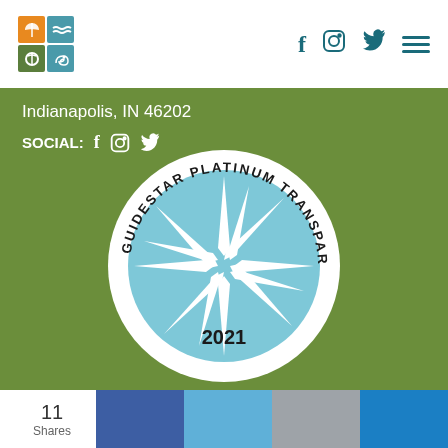[Figure (logo): Organization logo: 2x2 grid of colored squares with nature icons (wheat/grain, waves, leaf/tree, snail/shell)]
[Figure (infographic): Social media nav icons: Facebook, Instagram, Twitter, hamburger menu in teal]
Indianapolis, IN 46202
SOCIAL: f © ✓
[Figure (logo): GuideStar Platinum Transparency 2021 badge: circular seal with star compass rose on light blue background, text around border reading GUIDESTAR PLATINUM TRANSPARENCY, year 2021 at bottom]
11 Shares